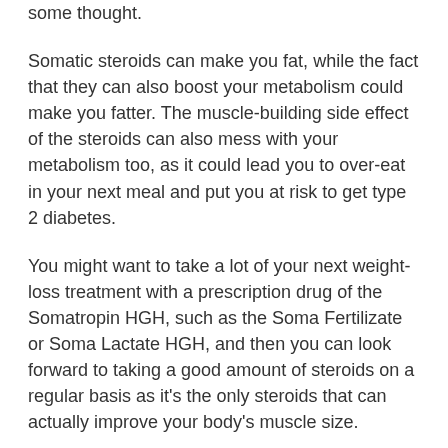some thought.
Somatic steroids can make you fat, while the fact that they can also boost your metabolism could make you fatter. The muscle-building side effect of the steroids can also mess with your metabolism too, as it could lead you to over-eat in your next meal and put you at risk to get type 2 diabetes.
You might want to take a lot of your next weight-loss treatment with a prescription drug of the Somatropin HGH, such as the Soma Fertilizate or Soma Lactate HGH, and then you can look forward to taking a good amount of steroids on a regular basis as it's the only steroids that can actually improve your body's muscle size.
Trenbolone is a steroid that can be used in